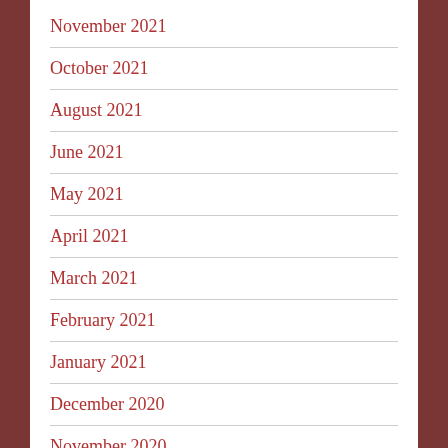November 2021
October 2021
August 2021
June 2021
May 2021
April 2021
March 2021
February 2021
January 2021
December 2020
November 2020